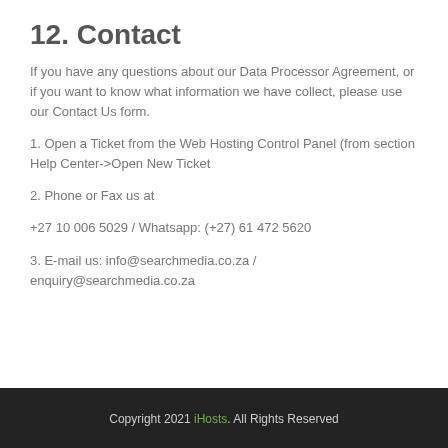12. Contact
If you have any questions about our Data Processor Agreement, or if you want to know what information we have collect, please use our Contact Us form.
1. Open a Ticket from the Web Hosting Control Panel (from section Help Center->Open New Ticket
2. Phone or Fax us at
+27 10 006 5029 / Whatsapp: (+27) 61 472 5620
3. E-mail us: info@searchmedia.co.za / enquiry@searchmedia.co.za
Copyright 2021 iHosts. All Rights Reserved